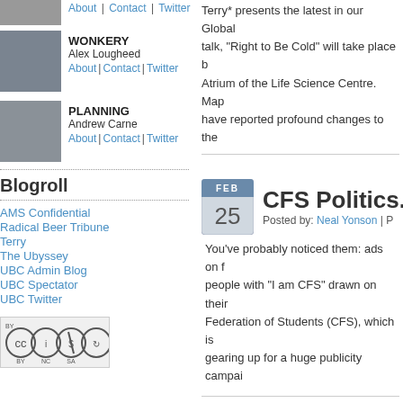[Figure (photo): Headshot photo of person (Wonkery editor)]
WONKERY
Alex Lougheed
About | Contact | Twitter
[Figure (photo): Headshot photo of Andrew Carne (Planning editor)]
PLANNING
Andrew Carne
About | Contact | Twitter
Blogroll
AMS Confidential
Radical Beer Tribune
Terry
The Ubyssey
UBC Admin Blog
UBC Spectator
UBC Twitter
[Figure (logo): Creative Commons BY NC SA license badge]
Terry* presents the latest in our Global... talk, "Right to Be Cold" will take place b... Atrium of the Life Science Centre. Map... have reported profound changes to the...
[Figure (other): Calendar icon showing FEB 25]
CFS Politics. W
Posted by: Neal Yonson | P
You've probably noticed them: ads on f... people with "I am CFS" drawn on their... Federation of Students (CFS), which is... gearing up for a huge publicity campai...
[Figure (other): Calendar icon showing FEB 23]
Vancouver Qua
Posted by: Neal Yonson | P
UBC's federal electoral riding, Vancouv... And if you live on campus, you can vot... the wealthiest and best educated ridin...